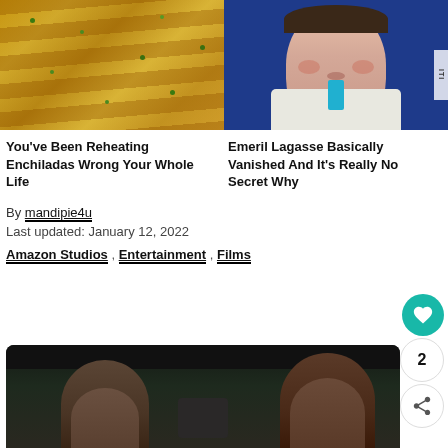[Figure (photo): Close-up photo of cheesy enchiladas topped with green herbs/cilantro]
[Figure (photo): Portrait photo of Emeril Lagasse against a blue background]
You've Been Reheating Enchiladas Wrong Your Whole Life
Emeril Lagasse Basically Vanished And It's Really No Secret Why
By mandipie4u
Last updated: January 12, 2022
Amazon Studios , Entertainment , Films
[Figure (photo): Photo of two or more people in a dark indoor setting, likely a film or TV promotional image]